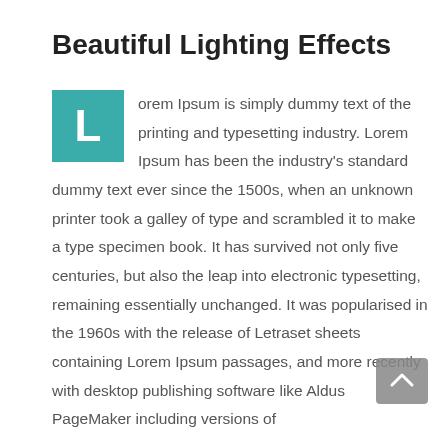Beautiful Lighting Effects
Lorem Ipsum is simply dummy text of the printing and typesetting industry. Lorem Ipsum has been the industry's standard dummy text ever since the 1500s, when an unknown printer took a galley of type and scrambled it to make a type specimen book. It has survived not only five centuries, but also the leap into electronic typesetting, remaining essentially unchanged. It was popularised in the 1960s with the release of Letraset sheets containing Lorem Ipsum passages, and more recently with desktop publishing software like Aldus PageMaker including versions of